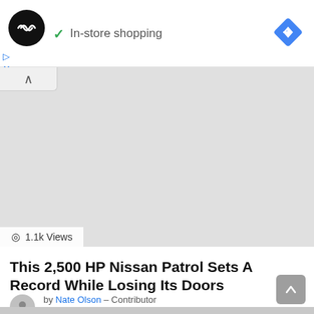[Figure (screenshot): Advertisement banner with circular dark logo showing infinity-like icon, checkmark 'In-store shopping' text, and blue diamond navigation icon on right]
[Figure (screenshot): Gray placeholder video/image area with collapse arrow button top-left and '1.1k Views' badge bottom-left]
This 2,500 HP Nissan Patrol Sets A Record While Losing Its Doors
by Nate Olson – Contributor
5 years ago